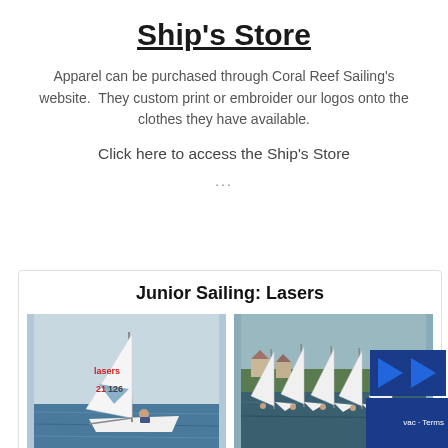Ship's Store
Apparel can be purchased through Coral Reef Sailing's website.  They custom print or embroider our logos onto the clothes they have available.
Click here to access the Ship's Store
...
Junior Sailing: Lasers
[Figure (photo): Two sailing photos side by side: left shows a Laser sailboat on open water with sail number 21 126, right shows multiple Laser sailboats sailing near a shoreline with houses visible in the background.]